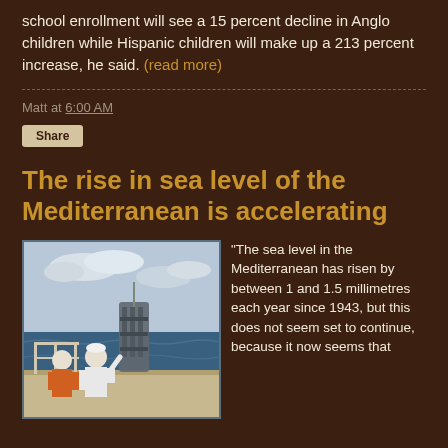school enrollment will see a 15 percent decline in Anglo children while Hispanic children will make up a 213 percent increase, he said. (read more)
Matt at 6:00 AM
Share
The rise in sea level of the Mediterranean is accelerating
[Figure (photo): Two researchers on a boat deck lowering oceanographic sampling equipment into the sea]
"The sea level in the Mediterranean has risen by between 1 and 1.5 millimetres each year since 1943, but this does not seem set to continue, because it now seems that